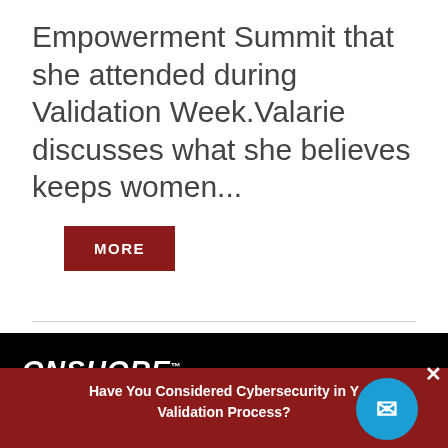Empowerment Summit that she attended during Validation Week.Valarie discusses what she believes keeps women...
MORE
‹ Older Posts
[Figure (logo): OnShore logo in white italic bold font with trademark symbol and underline on black background]
Have You Considered Cybersecurity in Your Validation Process?